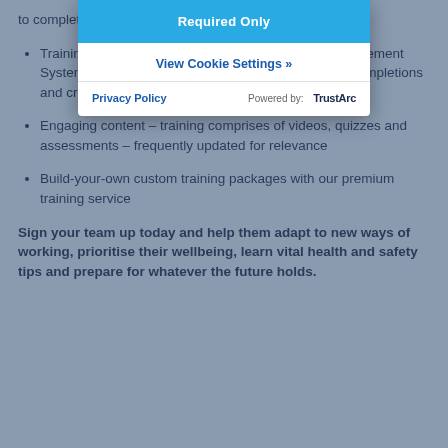Access anywhere – our online courses are available to complete wherever your team is working
Training where it's needed most – our Learning Management System helps you assign training, track your team's completions and create your own training programmes
Engaging content – training comprises of videos, quizzes and assessments – frequently updated for relevance
Build-your-own custom training packages with our premium training service
Sign your team up today and help them adapt to new ways of working, prioritise their wellbeing, learn vital health and safety tips and prepare for whatever the future holds.
Required Only
View Cookie Settings »
Privacy Policy
Powered by: TrustArc